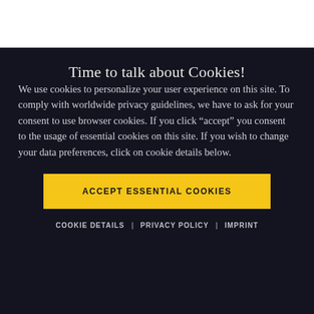Time to talk about Cookies!
We use cookies to personalize your user experience on this site. To comply with worldwide privacy guidelines, we have to ask for your consent to use browser cookies. If you click “accept” you consent to the usage of essential cookies on this site. If you wish to change your data preferences, click on cookie details below.
ACCEPT ESSENTIAL COOKIES
COOKIE DETAILS | PRIVACY POLICY | IMPRINT